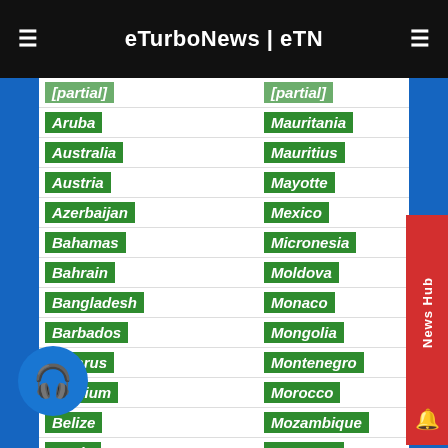eTurboNews | eTN
Aruba | Mauritania
Australia | Mauritius
Austria | Mayotte
Azerbaijan | Mexico
Bahamas | Micronesia
Bahrain | Moldova
Bangladesh | Monaco
Barbados | Mongolia
Belarus | Montenegro
Belgium | Morocco
Belize | Mozambique
Benin | Myanmar
Bermud | Namibia
Bhutan | Nauru
Bolivia | Nepal
Bosnia Herzegovina | Netherlands